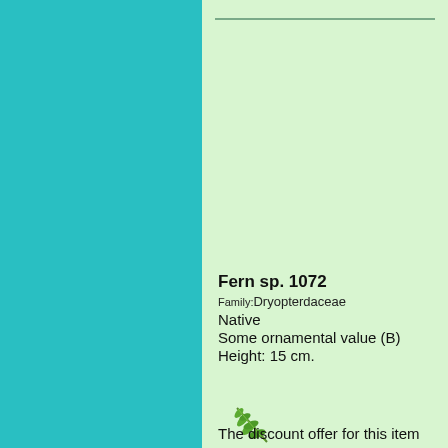[Figure (illustration): Teal/cyan colored left panel background]
[Figure (illustration): Light green right panel background with horizontal line at top]
Fern sp. 1072
Family:Dryopterdaceae
Native
Some ornamental value (B)
Height: 15 cm.
[Figure (illustration): Small green fern leaf/frond icon]
The discount offer for this item